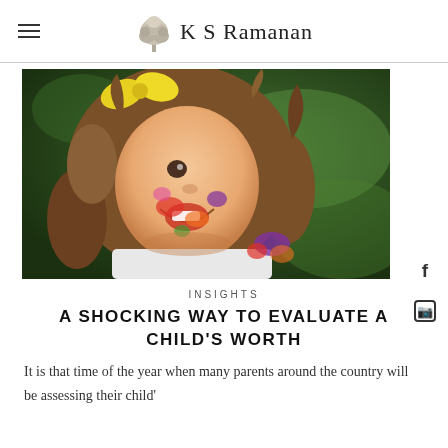K S Ramanan
[Figure (photo): Young girl with curly hair and a yellow bow, face covered with colorful paint, smiling and looking upward, outdoors with green background.]
INSIGHTS
A SHOCKING WAY TO EVALUATE A CHILD'S WORTH
It is that time of the year when many parents around the country will be assessing their child'